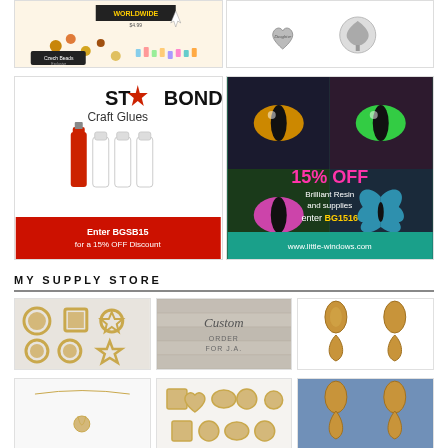[Figure (illustration): Top ad banner row: left side shows Czech Beads advertisement with colorful beads and '$4.99 WORLDWIDE' text; right side shows silver charm beads (heart Daughter charm and tree of life charm)]
[Figure (illustration): Starbond Craft Glues advertisement: left panel shows white/red glue bottles with text 'ST★RBOND Craft Glues' and 'Enter BGSB15 for a 15% OFF Discount'; right panel shows colorful cat eyes and butterfly with '15% OFF Brilliant Resin and supplies enter BG1516 www.little-windows.com']
MY SUPPLY STORE
[Figure (photo): Six gold round/square/hexagon bezel settings on gray background]
[Figure (photo): Custom order card on wood background with cursive text 'Custom ORDER FOR J.A.']
[Figure (photo): Two pairs of cork leather leaf/teardrop earring shapes on white background]
[Figure (photo): Gold necklace with small pendant on white background]
[Figure (photo): Gold mixed shape bezels (square, heart, oval, round)]
[Figure (photo): Cork leather earring blanks in teardrop/leaf shapes on blue background]